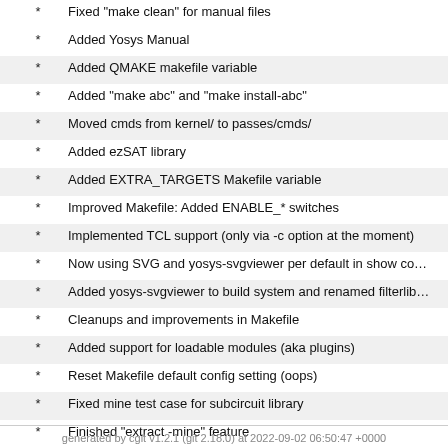Fixed "make clean" for manual files
Added Yosys Manual
Added QMAKE makefile variable
Added "make abc" and "make install-abc"
Moved cmds from kernel/ to passes/cmds/
Added ezSAT library
Added EXTRA_TARGETS Makefile variable
Improved Makefile: Added ENABLE_* switches
Implemented TCL support (only via -c option at the moment)
Now using SVG and yosys-svgviewer per default in show co…
Added yosys-svgviewer to build system and renamed filterlib…
Cleanups and improvements in Makefile
Added support for loadable modules (aka plugins)
Reset Makefile default config setting (oops)
Fixed mine test case for subcircuit library
Finished "extract -mine" feature
Fixed "make qtcreator" (we now have a libs/ directory)
Added help for command line options
Moved stand-alone libs to libs/ directory and added libs/subc…
More .gitignore and fixed "make mrproper"
initial import
generated by cgit v1.2.1 (git 2.18.0) at 2022-09-02 06:50:47 +0000